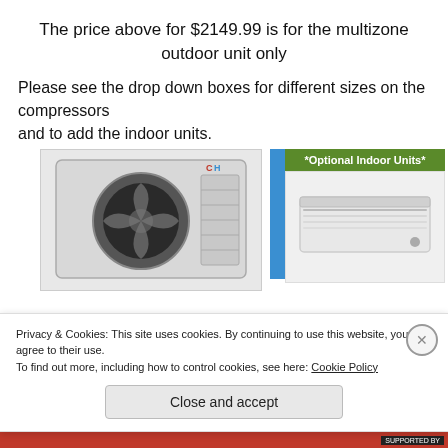The price above for $2149.99 is for the multizone outdoor unit only
Please see the drop down boxes for different sizes on the compressors
and to add the indoor units.
[Figure (photo): Product image showing a Cooper & Hunter multizone outdoor AC unit on the left, a blue vertical bar in the middle, and an optional indoor unit section on the right with a green banner reading '*Optional Indoor Units*']
Privacy & Cookies: This site uses cookies. By continuing to use this website, you agree to their use.
To find out more, including how to control cookies, see here: Cookie Policy
Close and accept